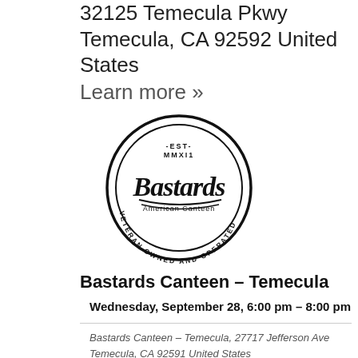32125 Temecula Pkwy
Temecula, CA 92592 United States
Learn more »
[Figure (logo): Bastards American Canteen circular logo with text 'EST. MMXI', 'Bastards American Canteen', and 'VETERAN OWNED AND OPERATED']
Bastards Canteen – Temecula
Wednesday, September 28, 6:00 pm – 8:00 pm
Bastards Canteen – Temecula, 27717 Jefferson Ave
Temecula, CA 92591 United States
27717 Jefferson Ave